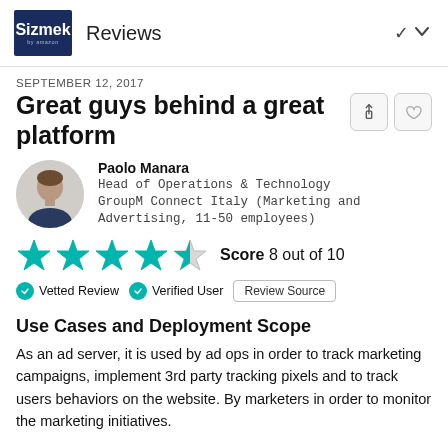Sizmek Reviews
SEPTEMBER 12, 2017
Great guys behind a great platform
Paolo Manara
Head of Operations & Technology
GroupM Connect Italy (Marketing and Advertising, 11-50 employees)
[Figure (other): Star rating showing 4 out of 5 stars (teal/green stars) with Score 8 out of 10]
Vetted Review   Verified User   Review Source
Use Cases and Deployment Scope
As an ad server, it is used by ad ops in order to track marketing campaigns, implement 3rd party tracking pixels and to track users behaviors on the website. By marketers in order to monitor the marketing initiatives.